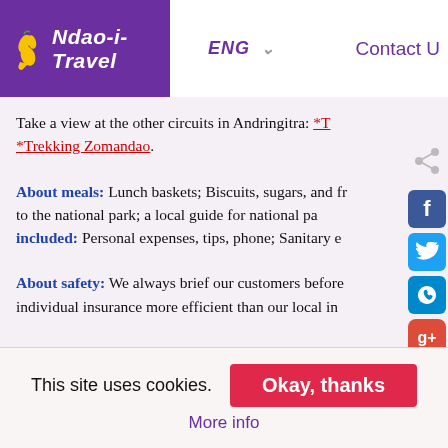Ndao-i-Travel | ENG | Contact U
Take a view at the other circuits in Andringitra: *T *Trekking Zomandao.
About meals: Lunch baskets; Biscuits, sugars, and fr to the national park; a local guide for national pa included: Personal expenses, tips, phone; Sanitary e
About safety: We always brief our customers before individual insurance more efficient than our local in
This site uses cookies. | Okay, thanks | More info